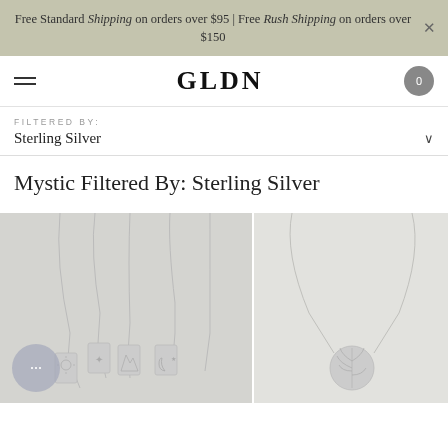Free Standard Shipping on orders over $95 | Free Rush Shipping on orders over $150
GLDN
FILTERED BY:
Sterling Silver
Mystic Filtered By: Sterling Silver
[Figure (photo): Multiple sterling silver necklaces with mystic-themed rectangular pendants (sun, moon, star, celestial motifs) displayed on a light grey background]
[Figure (photo): Sterling silver necklace with a round disc pendant featuring a floral/botanical engraving, displayed on a light grey background]